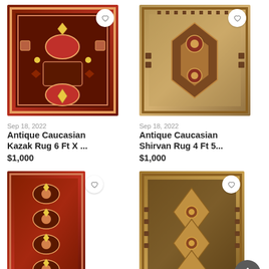[Figure (photo): Antique Caucasian Kazak rug with red and blue geometric patterns, with heart/favorite button overlay]
Sep 18, 2022
Antique Caucasian Kazak Rug 6 Ft X ...
$1,000
[Figure (photo): Antique Caucasian Shirvan rug with tan and brown geometric patterns, with heart/favorite button overlay]
Sep 18, 2022
Antique Caucasian Shirvan Rug 4 Ft 5...
$1,000
[Figure (photo): Antique red Caucasian runner rug with geometric medallion patterns, with heart/favorite button overlay]
[Figure (photo): Antique tan and dark Caucasian rug with diamond lattice geometric patterns, with heart/favorite button overlay]